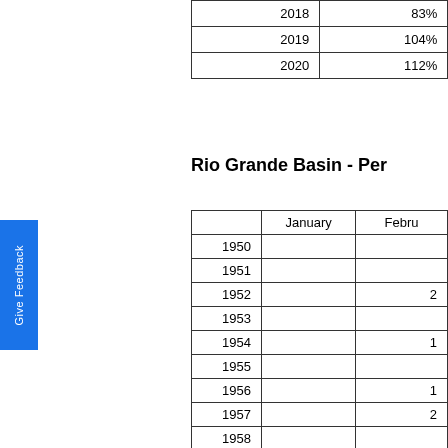|  | Year | Pct |  |
| --- | --- | --- | --- |
|  | 2018 | 83% |  |
|  | 2019 | 104% | 1 |
|  | 2020 | 112% | 1 |
Rio Grande Basin - Per...
|  | January | Febru... |
| --- | --- | --- |
| 1950 |  |  |
| 1951 |  |  |
| 1952 |  | 2 |
| 1953 |  |  |
| 1954 |  | 1 |
| 1955 |  |  |
| 1956 |  | 1 |
| 1957 |  | 2 |
| 1958 |  |  |
| 1959 |  |  |
| 1960 |  |  |
| 1961 |  |  |
| 1962 |  |  |
| 1963 |  |  |
| 1964 |  |  |